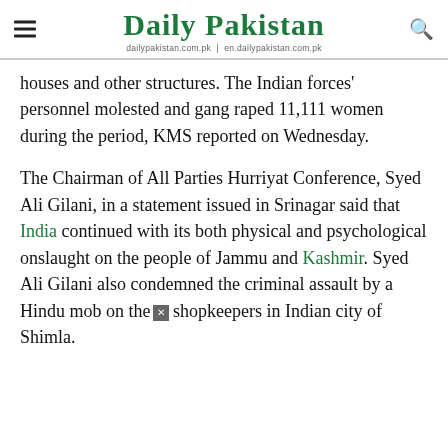Daily Pakistan
dailypakistan.com.pk | en.dailypakistan.com.pk
houses and other structures. The Indian forces' personnel molested and gang raped 11,111 women during the period, KMS reported on Wednesday.
The Chairman of All Parties Hurriyat Conference, Syed Ali Gilani, in a statement issued in Srinagar said that India continued with its both physical and psychological onslaught on the people of Jammu and Kashmir. Syed Ali Gilani also condemned the criminal assault by a Hindu mob on the shopkeepers in Indian city of Shimla.